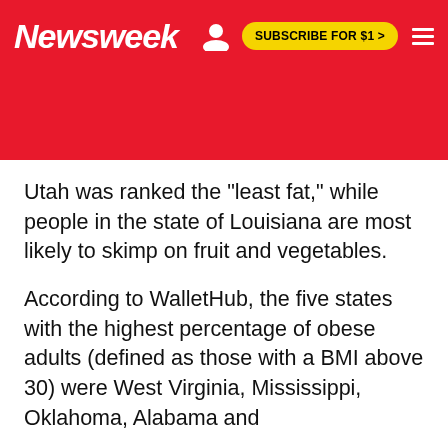Newsweek   SUBSCRIBE FOR $1 >
Utah was ranked the "least fat," while people in the state of Louisiana are most likely to skimp on fruit and vegetables.
According to WalletHub, the five states with the highest percentage of obese adults (defined as those with a BMI above 30) were West Virginia, Mississippi, Oklahoma, Alabama and